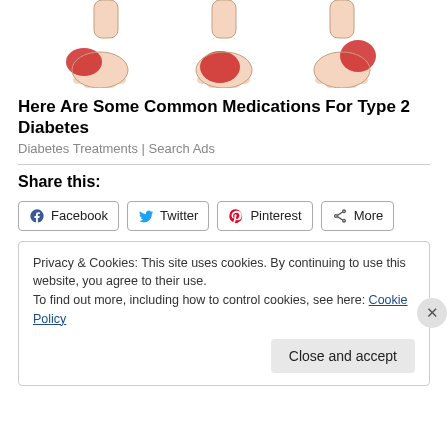[Figure (illustration): Three medical illustrations of human feet/ankles showing redness/inflammation on different areas, arranged side by side]
Here Are Some Common Medications For Type 2 Diabetes
Diabetes Treatments | Search Ads
Share this:
Facebook  Twitter  Pinterest  More
Privacy & Cookies: This site uses cookies. By continuing to use this website, you agree to their use.
To find out more, including how to control cookies, see here: Cookie Policy